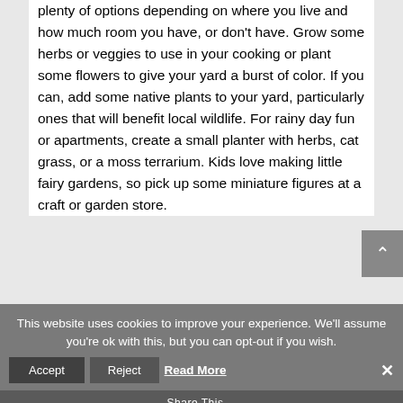plenty of options depending on where you live and how much room you have, or don't have. Grow some herbs or veggies to use in your cooking or plant some flowers to give your yard a burst of color. If you can, add some native plants to your yard, particularly ones that will benefit local wildlife. For rainy day fun or apartments, create a small planter with herbs, cat grass, or a moss terrarium. Kids love making little fairy gardens, so pick up some miniature figures at a craft or garden store.
This website uses cookies to improve your experience. We'll assume you're ok with this, but you can opt-out if you wish.
Accept | Reject | Read More
Share This